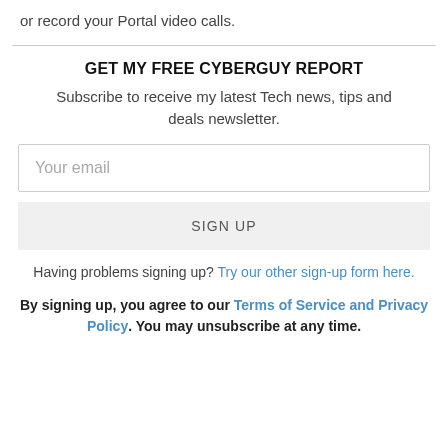or record your Portal video calls.
GET MY FREE CYBERGUY REPORT
Subscribe to receive my latest Tech news, tips and deals newsletter.
Your email
SIGN UP
Having problems signing up? Try our other sign-up form here.
By signing up, you agree to our Terms of Service and Privacy Policy. You may unsubscribe at any time.